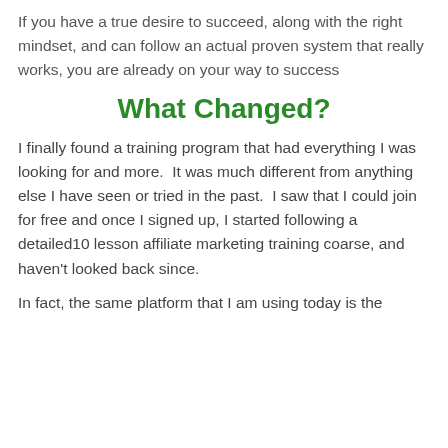If you have a true desire to succeed, along with the right mindset, and can follow an actual proven system that really works, you are already on your way to success
What Changed?
I finally found a training program that had everything I was looking for and more.  It was much different from anything else I have seen or tried in the past.  I saw that I could join for free and once I signed up, I started following a detailed10 lesson affiliate marketing training coarse, and haven't looked back since.
In fact, the same platform that I am using today is the